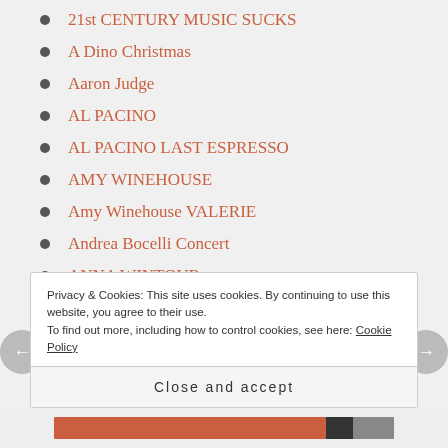21st CENTURY MUSIC SUCKS
A Dino Christmas
Aaron Judge
AL PACINO
AL PACINO LAST ESPRESSO
AMY WINEHOUSE
Amy Winehouse VALERIE
Andrea Bocelli Concert
ANNA WINTOUR
ANTHONY BOURDAIN
Anthony Bourdain Quotes
Anthony Bourdain Wished He Was Italian
Privacy & Cookies: This site uses cookies. By continuing to use this website, you agree to their use.
To find out more, including how to control cookies, see here: Cookie Policy
Close and accept